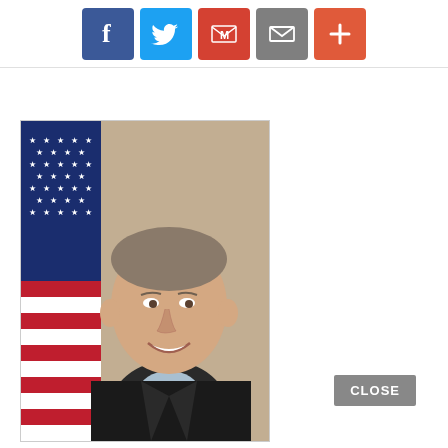[Figure (other): Social sharing buttons row: Facebook (blue), Twitter (light blue), Gmail (red), Email (gray), Plus/More (orange-red)]
[Figure (photo): Official portrait photo of a smiling middle-aged man with short gray-brown hair, wearing a dark suit with light blue shirt, posed in front of an American flag and tan/marble background]
CLOSE